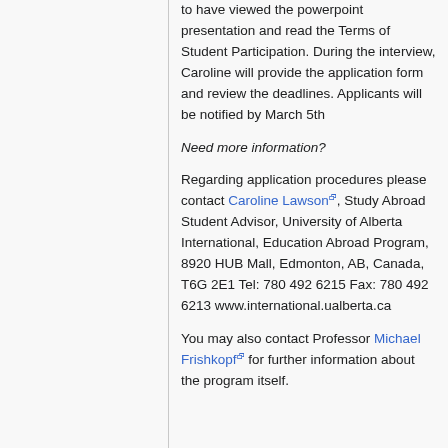to have viewed the powerpoint presentation and read the Terms of Student Participation. During the interview, Caroline will provide the application form and review the deadlines. Applicants will be notified by March 5th
Need more information?
Regarding application procedures please contact Caroline Lawson, Study Abroad Student Advisor, University of Alberta International, Education Abroad Program, 8920 HUB Mall, Edmonton, AB, Canada, T6G 2E1 Tel: 780 492 6215 Fax: 780 492 6213 www.international.ualberta.ca
You may also contact Professor Michael Frishkopf for further information about the program itself.